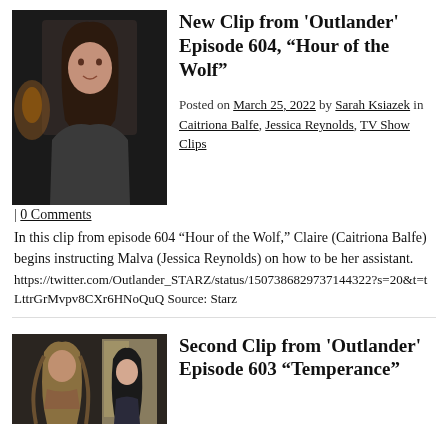[Figure (photo): Dark-haired young woman in period costume, TV show still]
New Clip from 'Outlander' Episode 604, “Hour of the Wolf”
Posted on March 25, 2022 by Sarah Ksiazek in Caitriona Balfe, Jessica Reynolds, TV Show Clips
| 0 Comments
In this clip from episode 604 “Hour of the Wolf,” Claire (Caitriona Balfe) begins instructing Malva (Jessica Reynolds) on how to be her assistant.
https://twitter.com/Outlander_STARZ/status/1507386829737144322?s=20&t=tLttrGrMvpv8CXr6HNoQuQ Source: Starz
[Figure (photo): Two people in period costume, TV show still]
Second Clip from 'Outlander' Episode 603 “Temperance”